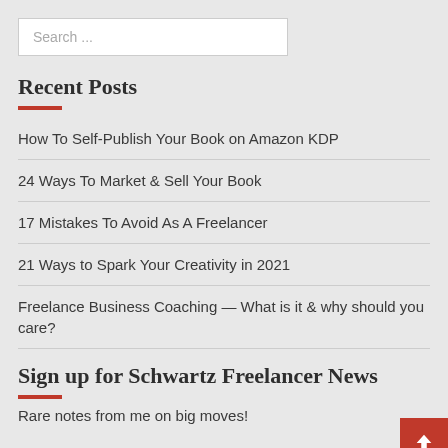Search ...
Recent Posts
How To Self-Publish Your Book on Amazon KDP
24 Ways To Market & Sell Your Book
17 Mistakes To Avoid As A Freelancer
21 Ways to Spark Your Creativity in 2021
Freelance Business Coaching — What is it & why should you care?
Sign up for Schwartz Freelancer News
Rare notes from me on big moves!